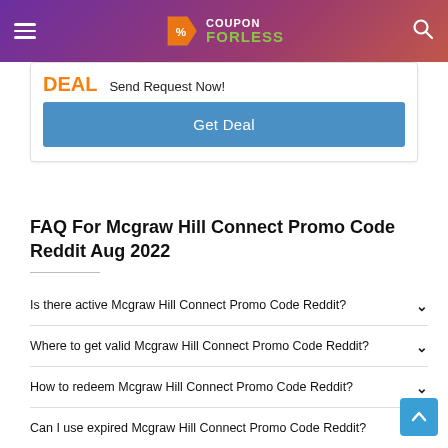Coupon ForLess
DEAL
Send Request Now!
Get Deal
FAQ For Mcgraw Hill Connect Promo Code Reddit Aug 2022
Is there active Mcgraw Hill Connect Promo Code Reddit?
Where to get valid Mcgraw Hill Connect Promo Code Reddit?
How to redeem Mcgraw Hill Connect Promo Code Reddit?
Can I use expired Mcgraw Hill Connect Promo Code Reddit?
Shop with Mcgraw Hill Connect Promo Code Reddit